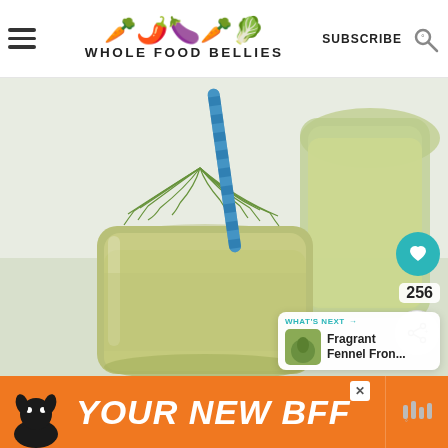WHOLE FOOD BELLIES  SUBSCRIBE
[Figure (photo): Close-up photo of a green smoothie in a mason jar with a decorative blue straw and fresh fennel fronds as garnish. A second jar with green smoothie is visible in the background on the right.]
256
WHAT'S NEXT → Fragrant Fennel Fron...
[Figure (infographic): Advertisement banner with orange background showing a dog and text 'YOUR NEW BFF']